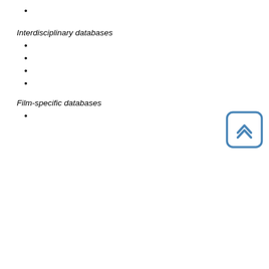Interdisciplinary databases
Film-specific databases
[Figure (illustration): Back to top button icon — rounded square with double chevron arrows pointing upward, blue border on white background]